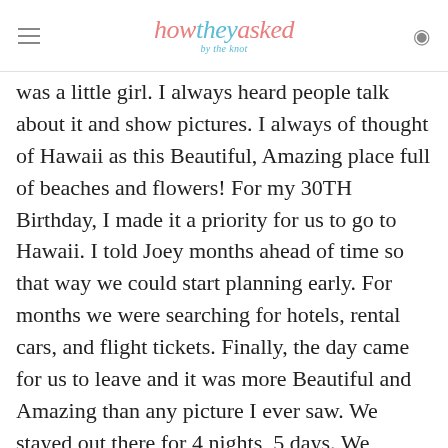how they asked by the knot
was a little girl. I always heard people talk about it and show pictures. I always of thought of Hawaii as this Beautiful, Amazing place full of beaches and flowers! For my 30TH Birthday, I made it a priority for us to go to Hawaii. I told Joey months ahead of time so that way we could start planning early. For months we were searching for hotels, rental cars, and flight tickets. Finally, the day came for us to leave and it was more Beautiful and Amazing than any picture I ever saw. We stayed out there for 4 nights, 5 days. We parasailed, we drove to every beach we could drive too, we walked the strip late at night, we ate at all these nice